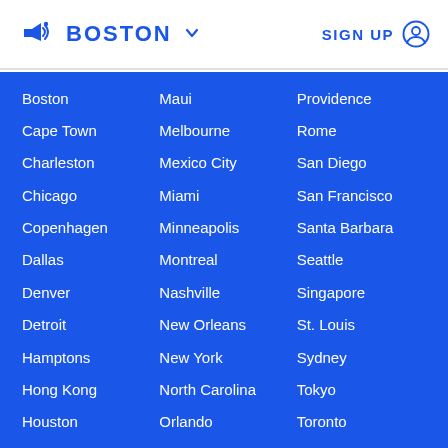BOSTON SIGN UP
Boston
Maui
Providence
Cape Town
Melbourne
Rome
Charleston
Mexico City
San Diego
Chicago
Miami
San Francisco
Copenhagen
Minneapolis
Santa Barbara
Dallas
Montreal
Seattle
Denver
Nashville
Singapore
Detroit
New Orleans
St. Louis
Hamptons
New York
Sydney
Hong Kong
North Carolina
Tokyo
Houston
Orlando
Toronto